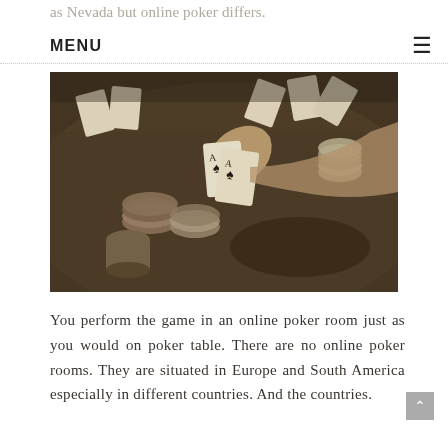as Nevada but online poker differs.
MENU ≡
[Figure (photo): Sepia-toned photograph of a poker table scene showing a hand holding playing cards (aces), poker chips scattered on a green felt table surface.]
You perform the game in an online poker room just as you would on poker table. There are no online poker rooms. They are situated in Europe and South America especially in different countries. And the countries.